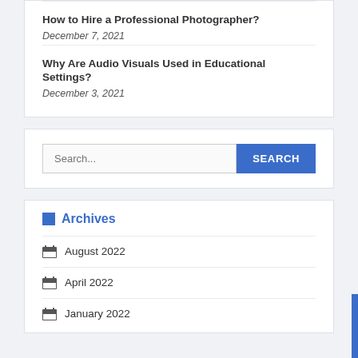How to Hire a Professional Photographer? — December 7, 2021
Why Are Audio Visuals Used in Educational Settings? — December 3, 2021
Search...
Archives
August 2022
April 2022
January 2022